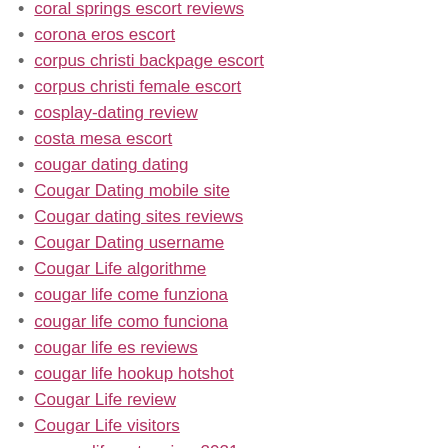coral springs escort reviews
corona eros escort
corpus christi backpage escort
corpus christi female escort
cosplay-dating review
costa mesa escort
cougar dating dating
Cougar Dating mobile site
Cougar dating sites reviews
Cougar Dating username
Cougar Life algorithme
cougar life come funziona
cougar life como funciona
cougar life es reviews
cougar life hookup hotshot
Cougar Life review
Cougar Life visitors
cougar-life.net review 2021
cougar-randki profil
Country Dating review
Country Dating site
countrymatch italia
Countrymatch login
CountryMatch visitors
Couple Real Sex Video